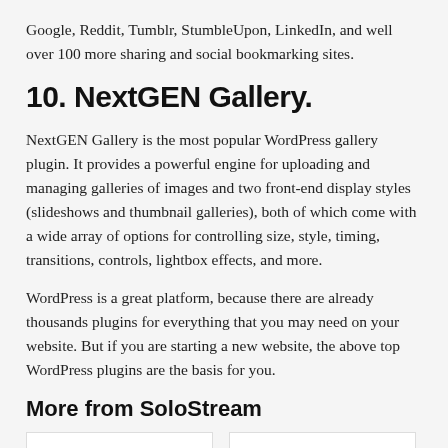Google, Reddit, Tumblr, StumbleUpon, LinkedIn, and well over 100 more sharing and social bookmarking sites.
10. NextGEN Gallery.
NextGEN Gallery is the most popular WordPress gallery plugin. It provides a powerful engine for uploading and managing galleries of images and two front-end display styles (slideshows and thumbnail galleries), both of which come with a wide array of options for controlling size, style, timing, transitions, controls, lightbox effects, and more.
WordPress is a great platform, because there are already thousands plugins for everything that you may need on your website. But if you are starting a new website, the above top WordPress plugins are the basis for you.
More from SoloStream
[Figure (photo): Two image placeholder boxes at the bottom of the page]